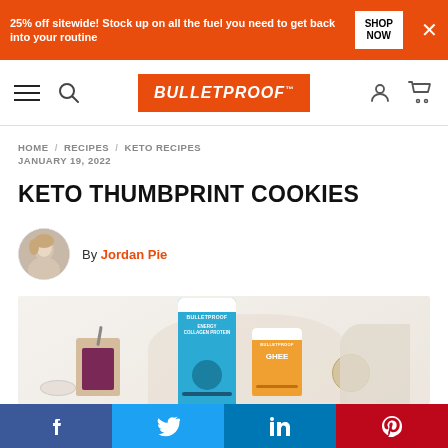25% off sitewide! Stock up on all the fuel you need to get back into your routine | SHOP NOW
BULLETPROOF (navigation bar)
HOME / RECIPES / KETO RECIPES
JANUARY 19, 2022
KETO THUMBPRINT COOKIES
By Jordan Pie
[Figure (photo): Flat lay photo of Bulletproof Energy Collagen Protein tub and Bulletproof Ghee tub alongside a jar of jam and small bowls on a linen cloth, on a white background.]
Facebook | Twitter | LinkedIn | Pinterest social share bar